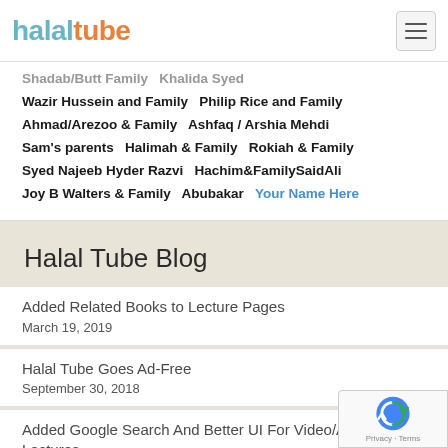halaltube
Shadab/Butt Family   Khalida Syed
Wazir Hussein and Family   Philip Rice and Family
Ahmad/Arezoo & Family   Ashfaq / Arshia Mehdi
Sam's parents   Halimah & Family   Rokiah & Family
Syed Najeeb Hyder Razvi   Hachim&FamilySaidAli
Joy B Walters & Family   Abubakar   Your Name Here
Halal Tube Blog
Added Related Books to Lecture Pages
March 19, 2019
Halal Tube Goes Ad-Free
September 30, 2018
Added Google Search And Better UI For Video/Audio Lectures
February 2, 2016